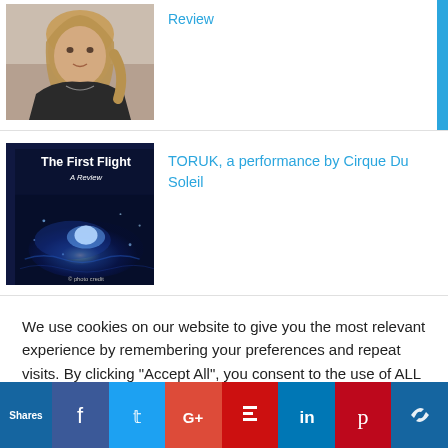[Figure (photo): Portrait photo of a woman with blonde hair in a dark top, sitting in a car]
Review
[Figure (illustration): Book/show cover for 'The First Flight - A Review' with dark blue glowing imagery]
TORUK, a performance by Cirque Du Soleil
We use cookies on our website to give you the most relevant experience by remembering your preferences and repeat visits. By clicking "Accept All", you consent to the use of ALL the cookies. However, you may visit "Cookie Settings" to provide a controlled consent.
Shares | Facebook | Twitter | G+ | Flipboard | LinkedIn | Pinterest | other